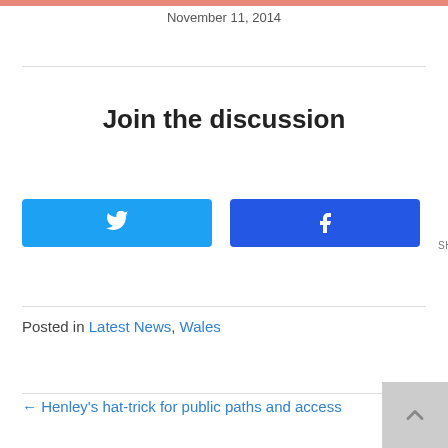November 11, 2014
Join the discussion
[Figure (other): Twitter share button (blue), Facebook share button (blue), and shares counter showing 0 SHARES]
Posted in Latest News, Wales
← Henley's hat-trick for public paths and access